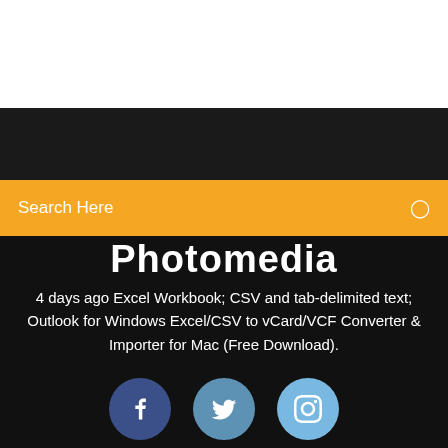Search Here
Photomedia
4 days ago Excel Workbook; CSV and tab-delimited text; Outlook for Windows Excel/CSV to vCard/VCF Converter & Importer for Mac (Free Download).
[Figure (illustration): Three social media icon circles: Facebook (dark blue), Twitter (medium blue), Instagram (light blue)]